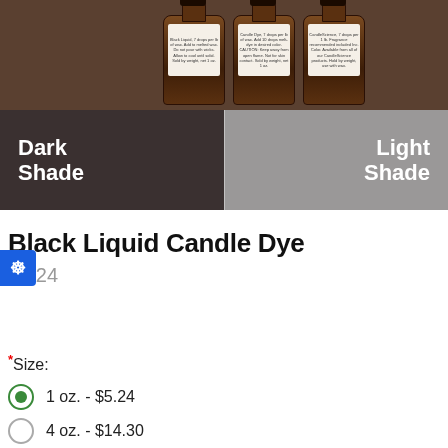[Figure (photo): Product photo showing three amber glass bottles of Black Liquid Candle Dye with labels, displayed above two color swatches labeled Dark Shade (dark brown/black) and Light Shade (gray). The Candle Science logo appears in the top left corner.]
Black Liquid Candle Dye
$5.24
*Size:
1 oz. - $5.24
4 oz. - $14.30